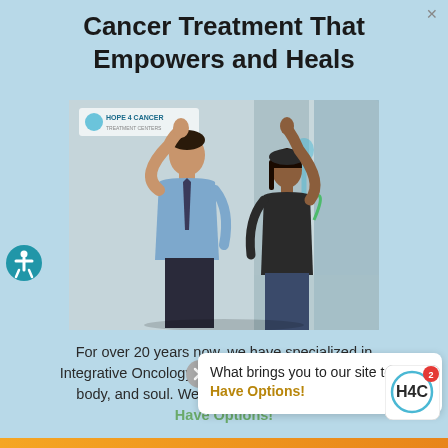Cancer Treatment That Empowers and Heals
[Figure (photo): A male doctor in a blue dress shirt and tie giving a high-five to a female patient in a dark t-shirt, standing in front of a glass door with a colorful logo, in a medical facility lobby.]
For over 20 years now, we have specialized in Integrative Oncology, helping thousands heal mind, body, and soul. We know there is hope. Can... Have Options!
What brings you to our site today? Have Options!